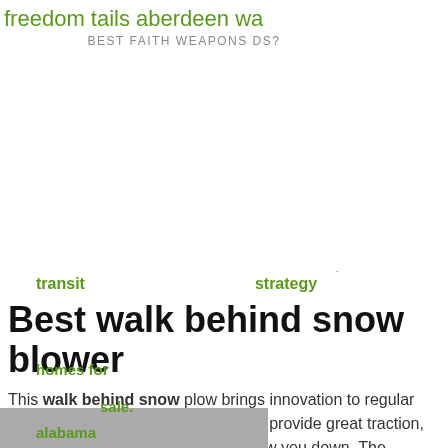freedom tails aberdeen wa
BEST FAITH WEAPONS DS?
transit    strategy
Best walk behind snow blower
This walk behind snow plow brings innovation to regular winter maintenance. The dual tracks provide great traction, and even heavy, wet snow won't slow you down. The Snow Bull's plow angle is easily adjustable, ... A Honda
homes for
sale.
alabama